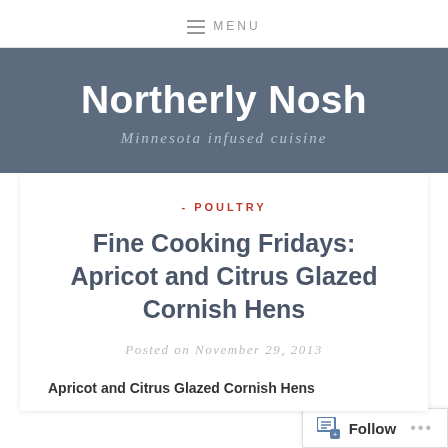≡ MENU
Northerly Nosh
Minnesota infused cuisine
- POULTRY
Fine Cooking Fridays: Apricot and Citrus Glazed Cornish Hens
Posted on November 29, 2013
Apricot and Citrus Glazed Cornish Hens